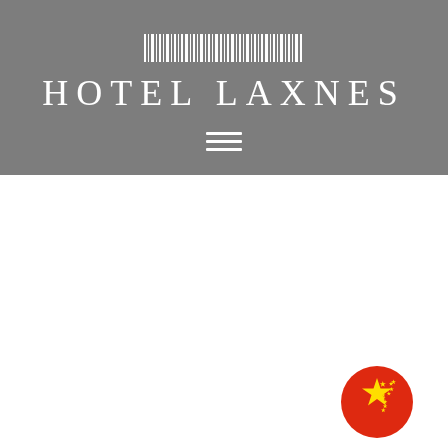[Figure (logo): Hotel Laxnes logo on grey background with barcode-style lines at top, hotel name in white, and hamburger menu icon below]
[Figure (illustration): Chinese flag circle icon (red with yellow stars) in the bottom-right area of white space]